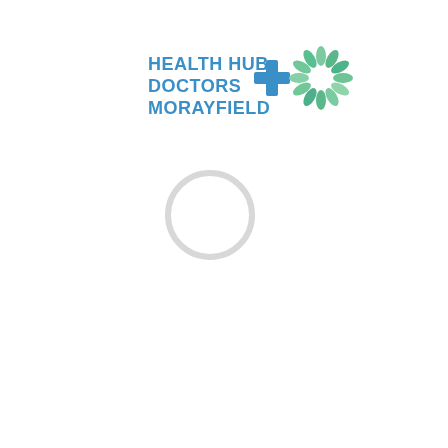[Figure (logo): Health Hub Doctors Morayfield logo with blue text and a blue cross symbol alongside a circular green leaf/petal motif on the right]
[Figure (other): A faint light grey circle outline (loading spinner or decorative ring) centered slightly left of middle on the page]